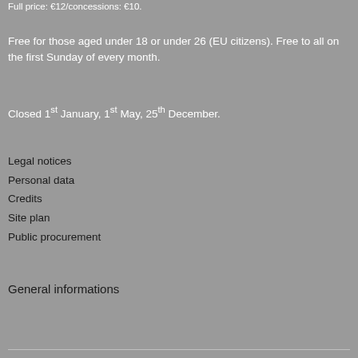Full price: €12/concessions: €10.
Free for those aged under 18 or under 26 (EU citizens). Free to all on the first Sunday of every month.
Closed 1st January, 1st May, 25th December.
Legal notices
Personal data
Credits
Site plan
Public procurement
General informations